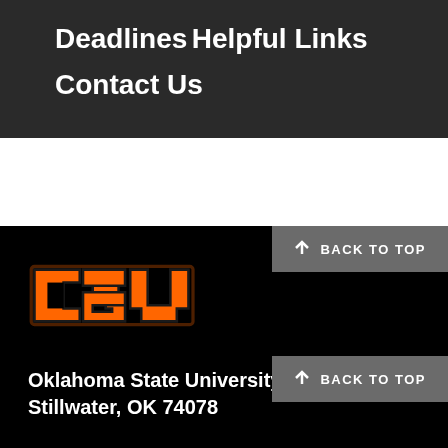Deadlines
Helpful Links
Contact Us
[Figure (logo): Oklahoma State University OSU logo in orange and black]
Oklahoma State University
Stillwater, OK  74078
BACK TO TOP